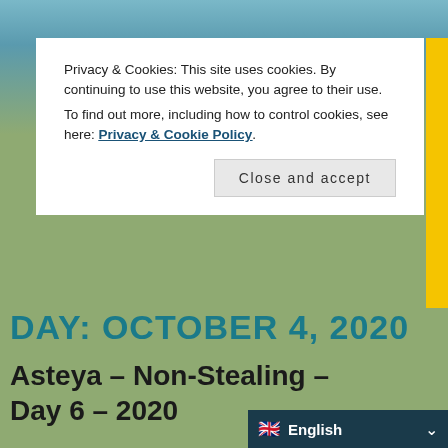Privacy & Cookies: This site uses cookies. By continuing to use this website, you agree to their use. To find out more, including how to control cookies, see here: Privacy & Cookie Policy
Close and accept
DAY: OCTOBER 4, 2020
Asteya – Non-Stealing – Day 6 – 2020
10/04/2020
posted in 1-yamas, y3-asteya
Good Morning Yogis! Today is Asteya or Non-stealing Day. So, we will be practicing Asteya with the positive of non-stealing or generosity to
English